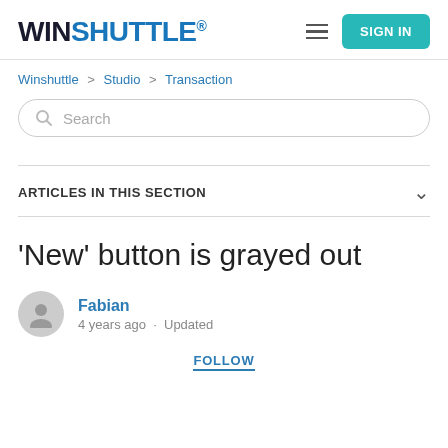WINSHUTTLE® — SIGN IN
Winshuttle > Studio > Transaction
[Figure (screenshot): Search input box with placeholder text 'Search']
ARTICLES IN THIS SECTION
'New' button is grayed out
Fabian
4 years ago · Updated
FOLLOW